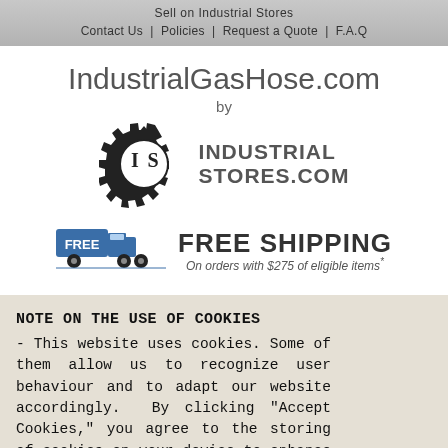Sell on Industrial Stores
Contact Us | Policies | Request a Quote | F.A.Q
IndustrialGasHose.com
by
[Figure (logo): Industrial Stores logo: gear icon with IS letters, and text INDUSTRIAL STORES.COM]
[Figure (infographic): Free Shipping banner: blue truck with FREE label, text FREE SHIPPING On orders with $275 of eligible items*]
NOTE ON THE USE OF COOKIES
- This website uses cookies. Some of them allow us to recognize user behaviour and to adapt our website accordingly. By clicking "Accept Cookies," you agree to the storing of cookies on your device to enhance site navigation, analyze site usage, and assist in our marketing efforts.